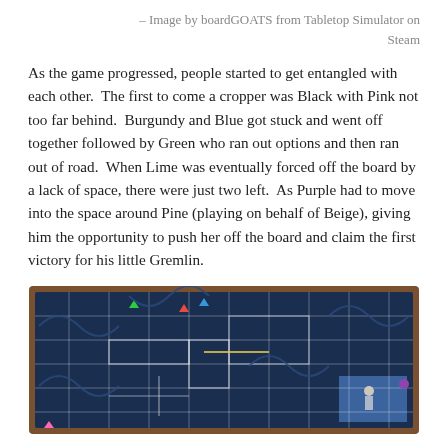– Image by boardGOATS from Tabletop Simulator on Steam
As the game progressed, people started to get entangled with each other.  The first to come a cropper was Black with Pink not too far behind.  Burgundy and Blue got stuck and went off together followed by Green who ran out options and then ran out of road.  When Lime was eventually forced off the board by a lack of space, there were just two left.  As Purple had to move into the space around Pine (playing on behalf of Beige), giving him the opportunity to push her off the board and claim the first victory for his little Gremlin.
[Figure (photo): A board game in progress as seen in Tabletop Simulator, showing a dark blue maze-like board with white grid lines and colored tokens/pieces positioned on it, framed with a brown border.]